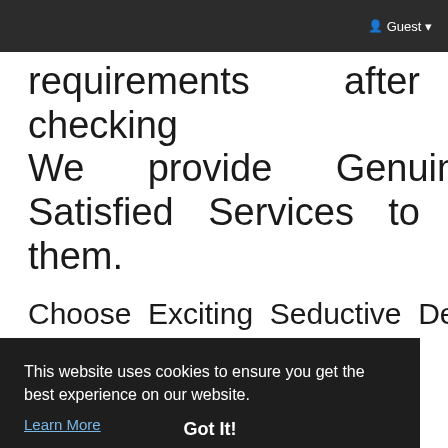Guest
requirements after checking We provide Genuine Satisfied Services to them.
Choose Exciting Seductive Delhi Escorts To Make Your Day
Escort in delhiEscort in delhi
This website uses cookies to ensure you get the best experience on our website.
Learn More
Got It!
leb, g a will may